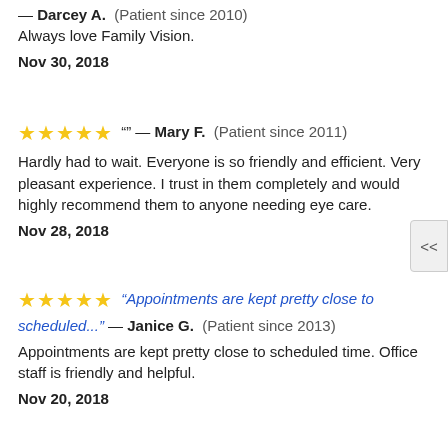— Darcey A.  (Patient since 2010)
Always love Family Vision.
Nov 30, 2018
"" — Mary F.  (Patient since 2011)
Hardly had to wait. Everyone is so friendly and efficient. Very pleasant experience. I trust in them completely and would highly recommend them to anyone needing eye care.
Nov 28, 2018
"Appointments are kept pretty close to scheduled..." — Janice G.  (Patient since 2013)
Appointments are kept pretty close to scheduled time. Office staff is friendly and helpful.
Nov 20, 2018